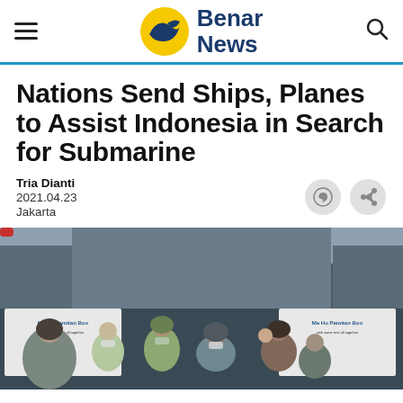Benar News
Nations Send Ships, Planes to Assist Indonesia in Search for Submarine
Tria Dianti
2021.04.23
Jakarta
[Figure (photo): A group of people, mostly women wearing hijabs and masks, gathered in an outdoor alleyway setting with banners on either side.]